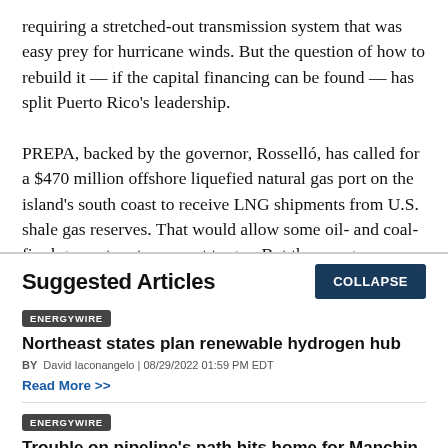requiring a stretched-out transmission system that was easy prey for hurricane winds. But the question of how to rebuild it — if the capital financing can be found — has split Puerto Rico's leadership.

PREPA, backed by the governor, Rosselló, has called for a $470 million offshore liquefied natural gas port on the island's south coast to receive LNG shipments from U.S. shale gas reserves. That would allow some oil- and coal-fired generators to convert to gas. But the energy
Suggested Articles
ENERGYWIRE — Northeast states plan renewable hydrogen hub — BY David Iaconangelo | 08/29/2022 01:59 PM EDT — Read More >>
ENERGYWIRE — Trouble on pipeline's path hits home for Manchin